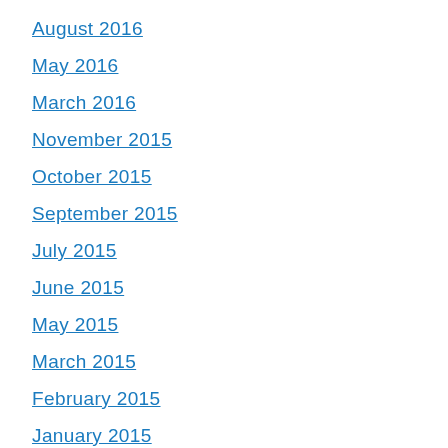August 2016
May 2016
March 2016
November 2015
October 2015
September 2015
July 2015
June 2015
May 2015
March 2015
February 2015
January 2015
December 2014